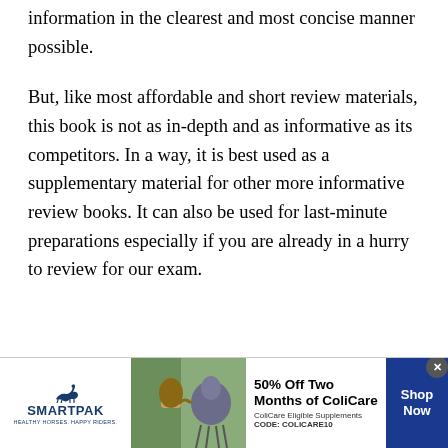information in the clearest and most concise manner possible.
But, like most affordable and short review materials, this book is not as in-depth and as informative as its competitors. In a way, it is best used as a supplementary material for other more informative review books. It can also be used for last-minute preparations especially if you are already in a hurry to review for our exam.
[Figure (other): SmartPak advertisement banner: 50% Off Two Months of ColiCare, ColiCare Eligible Supplements, CODE: COLICARE10, Shop Now button, horse and rider photo]